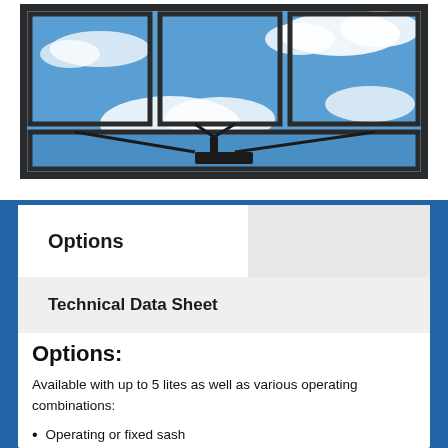[Figure (photo): Dark-framed awning window with multiple lites showing blue sky and clouds through the glass panes]
Options
Technical Data Sheet
Options:
Available with up to 5 lites as well as various operating combinations:
Operating or fixed sash
Bay or bow window